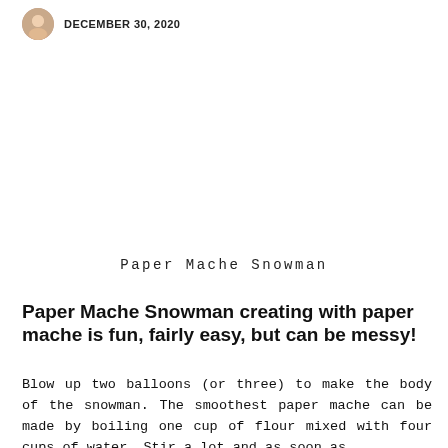DECEMBER 30, 2020
Paper Mache Snowman
Paper Mache Snowman creating with paper mache is fun, fairly easy, but can be messy!
Blow up two balloons (or three) to make the body of the snowman.  The smoothest paper mache can be made by boiling one cup of flour mixed with four cups of water.  Stir a lot and as soon as